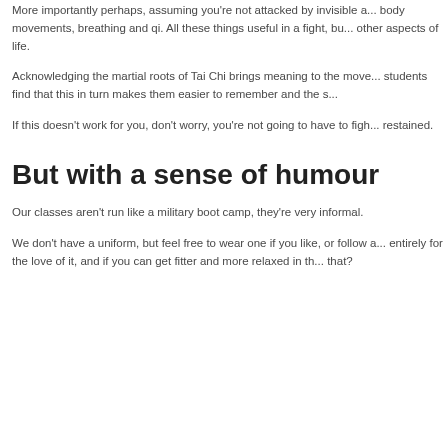More importantly perhaps, assuming you're not attacked by invisible a... body movements, breathing and qi. All these things useful in a fight, bu... other aspects of life.
Acknowledging the martial roots of Tai Chi brings meaning to the move... students find that this in turn makes them easier to remember and the s...
If this doesn't work for you, don't worry, you're not going to have to figh... restained.
But with a sense of humour
Our classes aren't run like a military boot camp, they're very informal.
We don't have a uniform, but feel free to wear one if you like, or follow a... entirely for the love of it, and if you can get fitter and more relaxed in th... that?